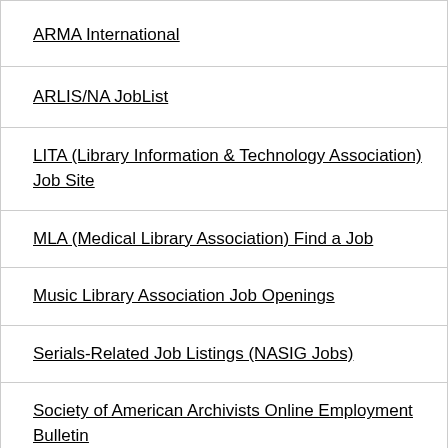ARMA International
ARLIS/NA JobList
LITA (Library Information & Technology Association) Job Site
MLA (Medical Library Association) Find a Job
Music Library Association Job Openings
Serials-Related Job Listings (NASIG Jobs)
Society of American Archivists Online Employment Bulletin
Special Libraries Association Jobs